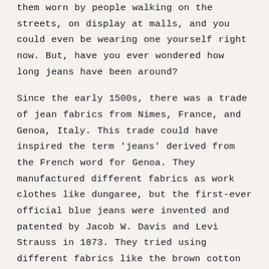them worn by people walking on the streets, on display at malls, and you could even be wearing one yourself right now. But, have you ever wondered how long jeans have been around?
Since the early 1500s, there was a trade of jean fabrics from Nimes, France, and Genoa, Italy. This trade could have inspired the term 'jeans' derived from the French word for Genoa. They manufactured different fabrics as work clothes like dungaree, but the first-ever official blue jeans were invented and patented by Jacob W. Davis and Levi Strauss in 1873. They tried using different fabrics like the brown cotton duck, but they soon found denim to be a more befitting material for work pants.